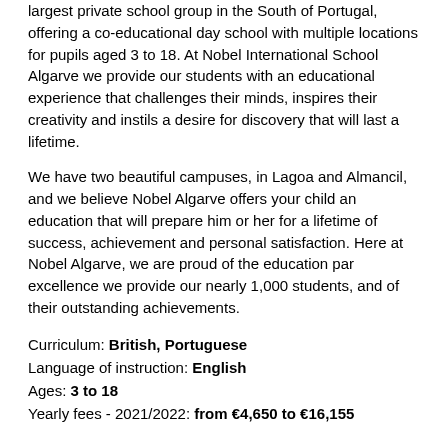largest private school group in the South of Portugal, offering a co-educational day school with multiple locations for pupils aged 3 to 18. At Nobel International School Algarve we provide our students with an educational experience that challenges their minds, inspires their creativity and instils a desire for discovery that will last a lifetime.
We have two beautiful campuses, in Lagoa and Almancil, and we believe Nobel Algarve offers your child an education that will prepare him or her for a lifetime of success, achievement and personal satisfaction. Here at Nobel Algarve, we are proud of the education par excellence we provide our nearly 1,000 students, and of their outstanding achievements.
Curriculum: British, Portuguese
Language of instruction: English
Ages: 3 to 18
Yearly fees - 2021/2022: from €4,650 to €16,155